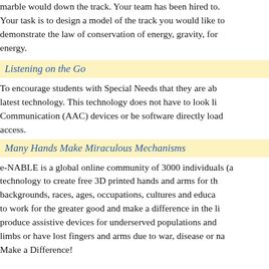marble would down the track. Your team has been hired to. Your task is to design a model of the track you would like to demonstrate the law of conservation of energy, gravity, for energy.
Listening on the Go
To encourage students with Special Needs that they are ab latest technology. This technology does not have to look li Communication (AAC) devices or be software directly load access.
Many Hands Make Miraculous Mechanisms
e-NABLE is a global online community of 3000 individuals (a technology to create free 3D printed hands and arms for th backgrounds, races, ages, occupations, cultures and educa to work for the greater good and make a difference in the li produce assistive devices for underserved populations and limbs or have lost fingers and arms due to war, disease or na Make a Difference!